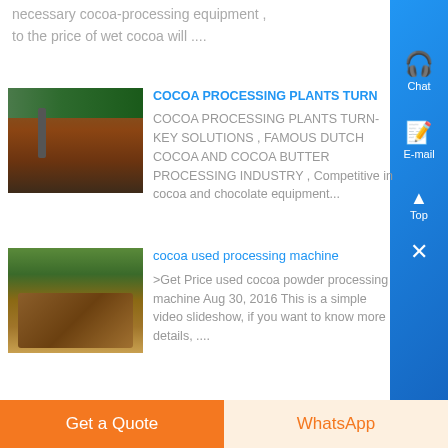necessary cocoa-processing equipment , to the price of wet cocoa will ....
COCOA PROCESSING PLANTS TURN
[Figure (photo): Industrial machinery or equipment with rusty/brown metallic surfaces]
COCOA PROCESSING PLANTS TURN-KEY SOLUTIONS , FAMOUS DUTCH COCOA AND COCOA BUTTER PROCESSING INDUSTRY , Competitive in cocoa and chocolate equipment...
cocoa used processing machine
[Figure (photo): Stack of cocoa pods or wooden materials outdoors with trees in background]
>Get Price used cocoa powder processing machine Aug 30, 2016 This is a simple video slideshow, if you want to know more details, ....